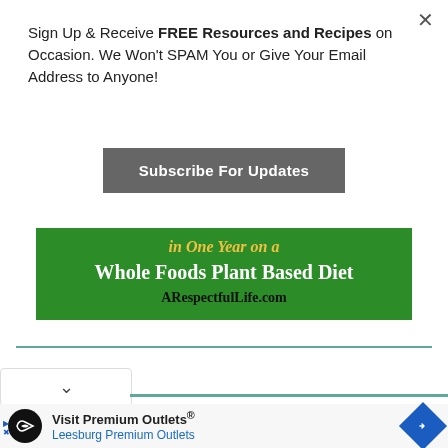Sign Up & Receive FREE Resources and Recipes on Occasion. We Won't SPAM You or Give Your Email Address to Anyone!
Subscribe For Updates
[Figure (infographic): Green banner with italic yellow text partially visible at top, white bold text 'Whole Foods Plant Based Diet', and black bold text 'ARespectfulLife.com' on green background]
[Figure (infographic): Bottom advertisement banner: black circular icon with white infinity-like symbol, text 'Visit Premium Outlets® Leesburg Premium Outlets' and blue diamond navigation icon]
Visit Premium Outlets®
Leesburg Premium Outlets